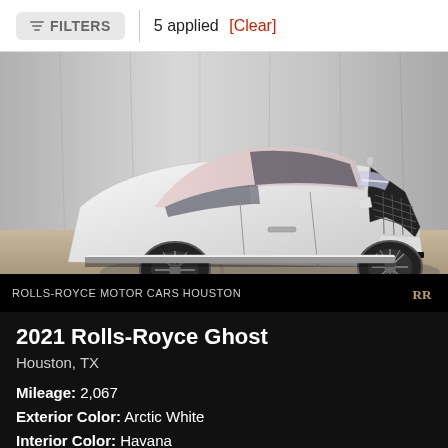FILTERS  5 applied [Clear]
[Figure (photo): White 2021 Rolls-Royce Ghost luxury sedan photographed in a studio setting with grey curtain background, shot from front-left three-quarter angle on a concrete floor. Dealer logo for Rolls-Royce Motor Cars Houston shown at bottom.]
ROLLS-ROYCE MOTOR CARS HOUSTON
2021 Rolls-Royce Ghost
Houston, TX
Mileage: 2,067
Exterior Color: Arctic White
Interior Color: Havana